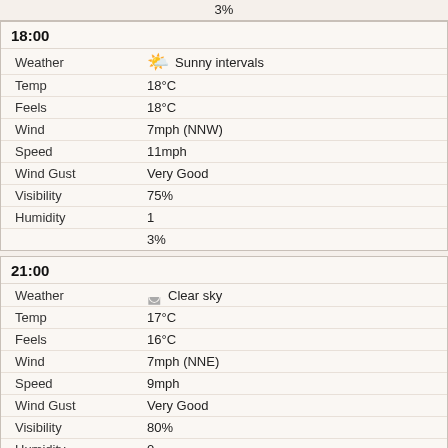3%
18:00
| Label | Value |
| --- | --- |
| Weather | Sunny intervals |
| Temp | 18°C |
| Feels | 18°C |
| Wind | 7mph (NNW) |
| Speed | 11mph |
| Wind Gust | Very Good |
| Visibility | 75% |
| Humidity | 1 |
|  | 3% |
21:00
| Label | Value |
| --- | --- |
| Weather | Clear sky |
| Temp | 17°C |
| Feels | 16°C |
| Wind | 7mph (NNE) |
| Speed | 9mph |
| Wind Gust | Very Good |
| Visibility | 80% |
| Humidity | 0 |
|  | 0% |
28 August 2022
00:00